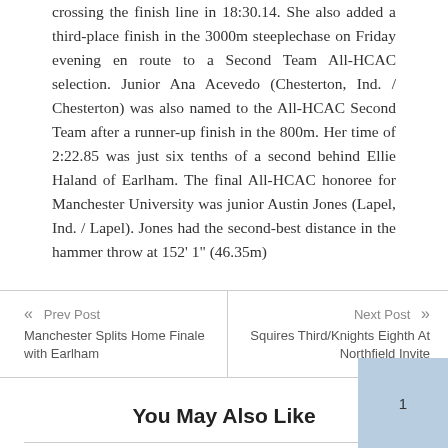crossing the finish line in 18:30.14. She also added a third-place finish in the 3000m steeplechase on Friday evening en route to a Second Team All-HCAC selection. Junior Ana Acevedo (Chesterton, Ind. / Chesterton) was also named to the All-HCAC Second Team after a runner-up finish in the 800m. Her time of 2:22.85 was just six tenths of a second behind Ellie Haland of Earlham. The final All-HCAC honoree for Manchester University was junior Austin Jones (Lapel, Ind. / Lapel). Jones had the second-best distance in the hammer throw at 152' 1" (46.35m)
Prev Post
Manchester Splits Home Finale with Earlham
Next Post
Squires Third/Knights Eighth At Northfield Invite
You May Also Like